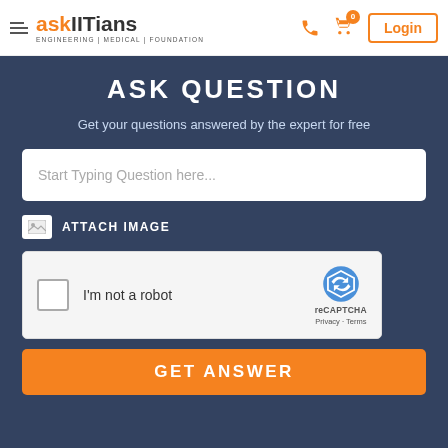askIITians ENGINEERING | MEDICAL | FOUNDATION — Login
ASK QUESTION
Get your questions answered by the expert for free
Start Typing Question here...
ATTACH IMAGE
[Figure (screenshot): reCAPTCHA widget with checkbox labeled I'm not a robot, showing reCAPTCHA logo, Privacy and Terms links]
GET ANSWER